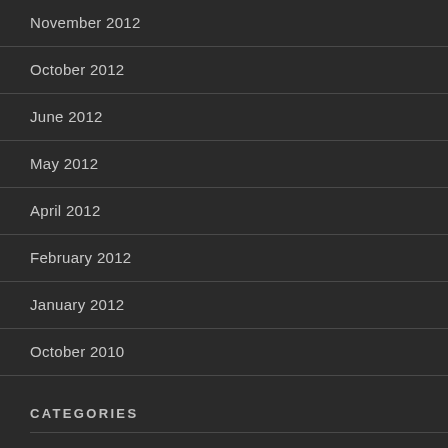November 2012
October 2012
June 2012
May 2012
April 2012
February 2012
January 2012
October 2010
CATEGORIES
Art